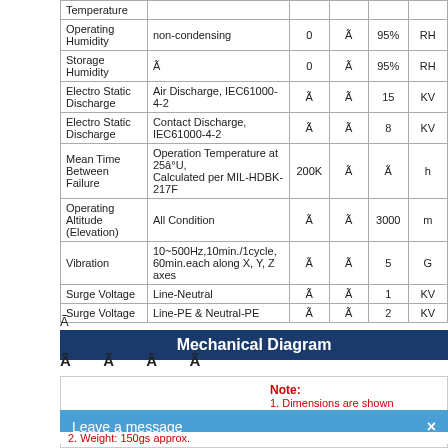|  |  |  | Ã |  |  |
| --- | --- | --- | --- | --- | --- |
| Temperature |  |  |  |  |  |
| Operating Humidity | non-condensing | 0 | Ã | 95% | RH |
| Storage Humidity | Ã | 0 | Ã | 95% | RH |
| Electro Static Discharge | Air Discharge, IEC61000-4-2 | Ã | Ã | 15 | KV |
| Electro Static Discharge | Contact Discharge, IEC61000-4-2 | Ã | Ã | 8 | KV |
| Mean Time Between Failure | Operation Temperature at 25â°C, Calculated per MIL-HDBK-217F | 200K | Ã | Ã | h |
| Operating Altitude (Elevation) | All Condition | Ã | Ã | 3000 | m |
| Vibration | 10~500Hz,10min./1cycle, 60min.each along X, Y, Z axes | Ã | Ã | 5 | G |
| Surge Voltage | Line-Neutral | Ã | Ã | 1 | KV |
| Surge Voltage | Line-PE & Neutral-PE | Ã | Ã | 2 | KV |
Ã
Mechanical Diagram
Ã  Ã  Ã  Ã
[Figure (engineering-diagram): Mechanical diagram of the device (partially visible)]
Note:
1. Dimensions are shown
2. Weight: 150gs approx.